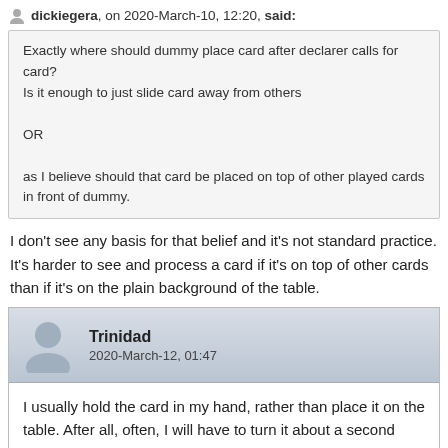dickiegera, on 2020-March-10, 12:20, said:
Exactly where should dummy place card after declarer calls for card?
Is it enough to just slide card away from others

OR

as I believe should that card be placed on top of other played cards in front of dummy.
I don't see any basis for that belief and it's not standard practice. It's harder to see and process a card if it's on top of other cards than if it's on the plain background of the table.
Trinidad
2020-March-12, 01:47
I usually hold the card in my hand, rather than place it on the table. After all, often, I will have to turn it about a second later. Why would I first pick it up, then put it down, and then pick it up again to quit it?

If it turns out that a player goes into a tank, I either put the card on